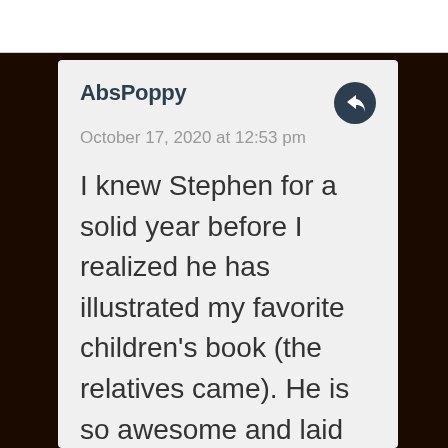AbsPoppy
October 17, 2020 at 12:53 pm
I knew Stephen for a solid year before I realized he has illustrated my favorite children's book (the relatives came). He is so awesome and laid back I would never assume